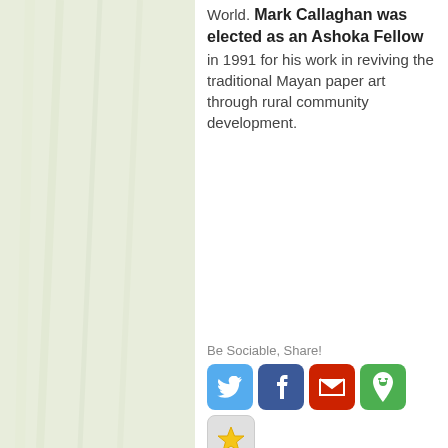World. Mark Callaghan was elected as an Ashoka Fellow in 1991 for his work in reviving the traditional Mayan paper art through rural community development.
Be Sociable, Share!
[Figure (other): Social sharing buttons: Twitter, Facebook, Email, Pin it, Favorites, StumbleUpon, Delicious, Google+, LinkedIn, More]
[Figure (other): Tweet button with Twitter bird icon]